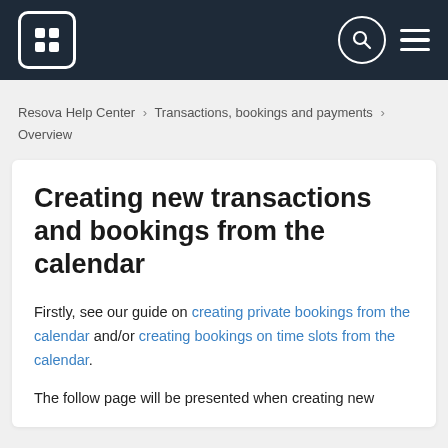Resova Help Center navigation bar with logo, search, and menu
Resova Help Center › Transactions, bookings and payments › Overview
Creating new transactions and bookings from the calendar
Firstly, see our guide on creating private bookings from the calendar and/or creating bookings on time slots from the calendar.
The follow page will be presented when creating new